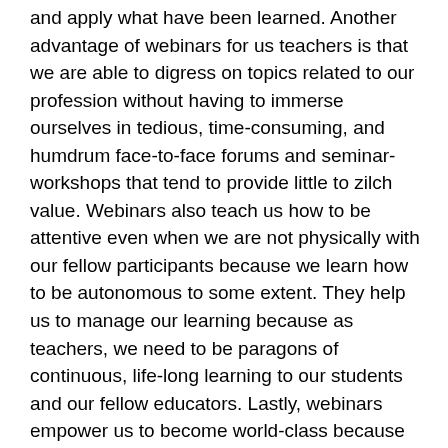and apply what have been learned. Another advantage of webinars for us teachers is that we are able to digress on topics related to our profession without having to immerse ourselves in tedious, time-consuming, and humdrum face-to-face forums and seminar-workshops that tend to provide little to zilch value. Webinars also teach us how to be attentive even when we are not physically with our fellow participants because we learn how to be autonomous to some extent. They help us to manage our learning because as teachers, we need to be paragons of continuous, life-long learning to our students and our fellow educators. Lastly, webinars empower us to become world-class because we can attend webinars from both local and foreign experts who are renowned the world over for their brilliance, steadfastness, and ability to help to make a major difference worldwide.
When we attend webinars, we must exercise not only knowledge and expertise but also values because even a seemingly ubiquitous online staple such as a webinar can and must be put to good use by observing proper netiquette and ethics.